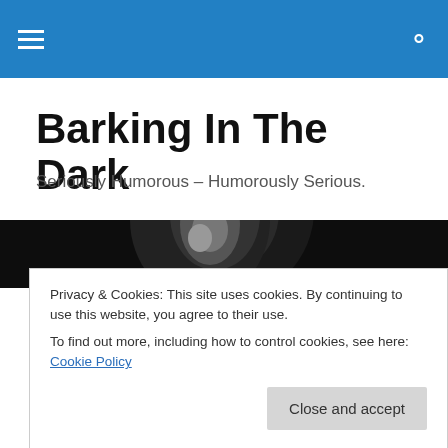Navigation bar with hamburger menu and search icon
Barking In The Dark
Seriously Humorous – Humorously Serious.
[Figure (photo): Dark hero image showing a person's face partially visible against a black background]
NEWS FLASH: BARKING OBTAINS AN ADVANCE COPY
Privacy & Cookies: This site uses cookies. By continuing to use this website, you agree to their use.
To find out more, including how to control cookies, see here: Cookie Policy
Close and accept